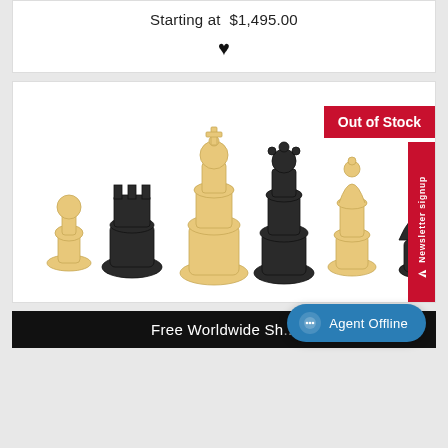Starting at  $1,495.00
[Figure (illustration): Heart/favorite icon (filled black heart)]
[Figure (photo): Chess pieces lined up: white pawn, black rook, white king, black queen, white bishop, black knight on white background. Red 'Out of Stock' badge top right. Red vertical 'Newsletter signup' tab on far right.]
Out of Stock
Newsletter signup
Free Worldwide Sh...
Agent Offline